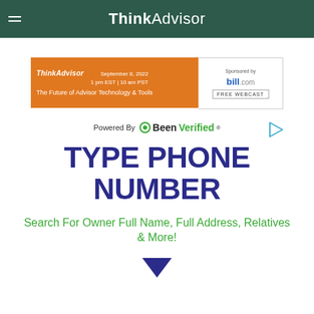ThinkAdvisor
[Figure (screenshot): ThinkAdvisor webcast advertisement banner: 'The Future of Advisor Technology & Tools' on September 8, 2022, 1 pm EST | 10 am PST, sponsored by bill.com, FREE WEBCAST]
[Figure (logo): Powered By BeenVerified logo with play button icon]
TYPE PHONE NUMBER
Search For Owner Full Name, Full Address, Relatives & More!